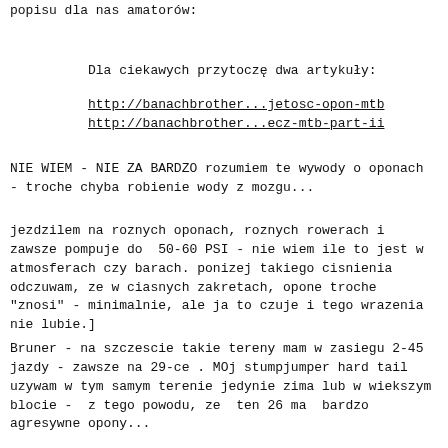popisu dla nas amatorów:
Dla ciekawych przytoczę dwa artykuły:
http://banachbrother...jetosc-opon-mtb
http://banachbrother...ecz-mtb-part-ii
NIE WIEM - NIE ZA BARDZO rozumiem te wywody o oponach - troche chyba robienie wody z mozgu...
jezdzilem na roznych oponach, roznych rowerach i zawsze pompuje do  50-60 PSI - nie wiem ile to jest w atmosferach czy barach. ponizej takiego cisnienia odczuwam, ze w ciasnych zakretach, opone troche "znosi" - minimalnie, ale ja to czuje i tego wrazenia nie lubie.]
Bruner - na szczescie takie tereny mam w zasiegu 2-45 jazdy - zawsze na 29-ce . MOj stumpjumper hard tail uzywam w tym samym terenie jedynie zima lub w wiekszym blocie -  z tego powodu, ze  ten 26 ma  bardzo agresywne opony...